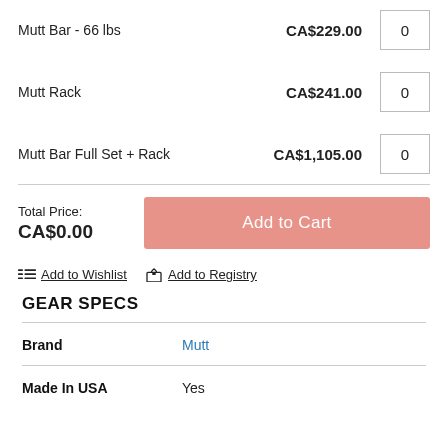Mutt Bar - 66 lbs  CA$229.00  0
Mutt Rack  CA$241.00  0
Mutt Bar Full Set + Rack  CA$1,105.00  0
Total Price: CA$0.00
Add to Cart
Add to Wishlist  Add to Registry
GEAR SPECS
|  |  |
| --- | --- |
| Brand | Mutt |
| Made In USA | Yes |